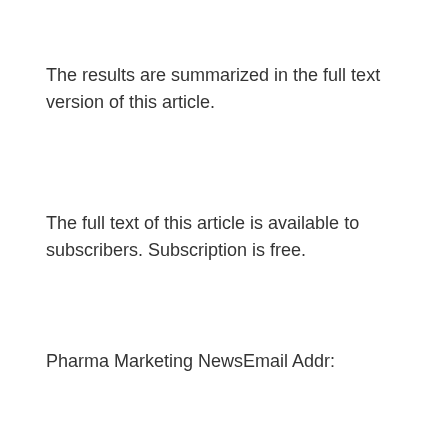The results are summarized in the full text version of this article.
The full text of this article is available to subscribers. Subscription is free.
Pharma Marketing NewsEmail Addr: